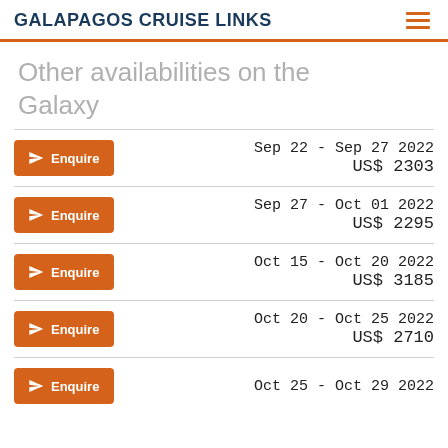GALAPAGOS CRUISE LINKS
Other availabilities on the Galaxy
| Action | Date Range | Price |
| --- | --- | --- |
| Enquire | Sep 22 - Sep 27 2022 | US$ 2303 |
| Enquire | Sep 27 - Oct 01 2022 | US$ 2295 |
| Enquire | Oct 15 - Oct 20 2022 | US$ 3185 |
| Enquire | Oct 20 - Oct 25 2022 | US$ 2710 |
| Enquire | Oct 25 - Oct 29 2022 |  |